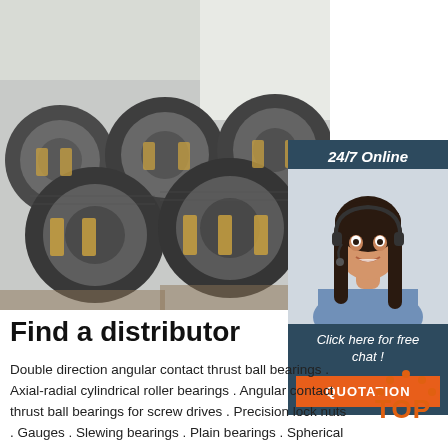[Figure (photo): Photo of coiled wire rods or steel wire bundles stacked in a warehouse, viewed from the front, showing multiple circular coils secured with tape.]
[Figure (photo): Sidebar widget with dark blue background showing '24/7 Online', a photo of a female customer service representative with headset smiling, 'Click here for free chat!' text, and an orange QUOTATION button.]
Find a distributor
Double direction angular contact thrust ball bearings . Axial-radial cylindrical roller bearings . Angular contact thrust ball bearings for screw drives . Precision lock nuts . Gauges . Slewing bearings . Plain bearings . Spherical plain
[Figure (logo): Orange TOP logo with dotted arc forming a triangle above the word TOP in bold orange letters.]